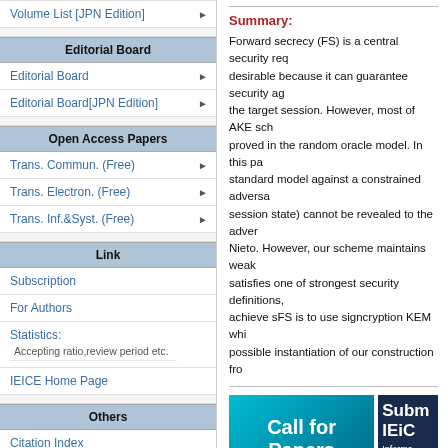Volume List [JPN Edition]
Editorial Board
Editorial Board
Editorial Board[JPN Edition]
Open Access Papers
Trans. Commun. (Free)
Trans. Electron. (Free)
Trans. Inf.&Syst. (Free)
Link
Subscription
For Authors
Statistics:
Accepting ratio,review period etc.
IEICE Home Page
Others
Citation Index
Summary:
Forward secrecy (FS) is a central security req... desirable because it can guarantee security ag... the target session. However, most of AKE sch... proved in the random oracle model. In this pa... standard model against a constrained adversa... session state) cannot be revealed to the adver... Nieto. However, our scheme maintains weak... satisfies one of strongest security definitions,... achieve sFS is to use signcryption KEM whi... possible instantiation of our construction fro...
[Figure (illustration): Call for Papers Special Section banner (teal/cyan gradient background)]
[Figure (illustration): Submit to IEICE Informatics banner (dark navy background)]